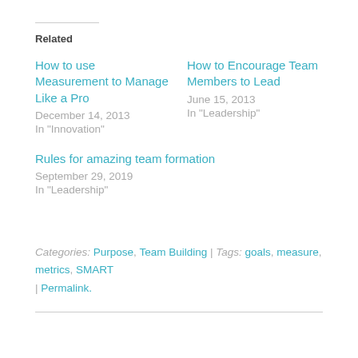Related
How to use Measurement to Manage Like a Pro
December 14, 2013
In "Innovation"
How to Encourage Team Members to Lead
June 15, 2013
In "Leadership"
Rules for amazing team formation
September 29, 2019
In "Leadership"
Categories: Purpose, Team Building | Tags: goals, measure, metrics, SMART | Permalink.